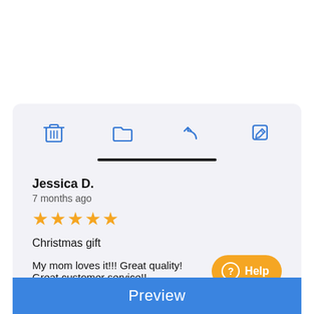[Figure (screenshot): Toolbar with four icons: trash/delete, folder, reply/undo arrow, and edit/pencil icons in blue outline style]
Jessica D.
7 months ago
[Figure (other): Five orange star rating icons]
Christmas gift
My mom loves it!!! Great quality! Great customer service!!
Help
Preview